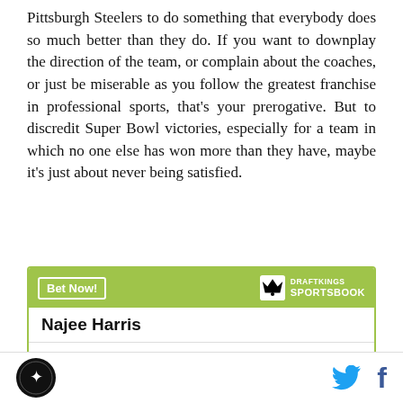Pittsburgh Steelers to do something that everybody does so much better than they do. If you want to downplay the direction of the team, or complain about the coaches, or just be miserable as you follow the greatest franchise in professional sports, that's your prerogative. But to discredit Super Bowl victories, especially for a team in which no one else has won more than they have, maybe it's just about never being satisfied.
|  |  |
| --- | --- |
| Najee Harris |  |
| To win MVP | +15000 |